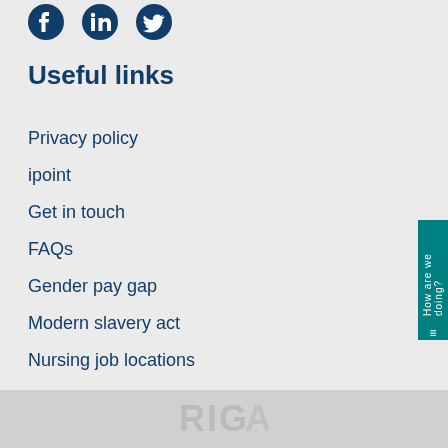[Figure (illustration): Three social media icons: Facebook, LinkedIn, Twitter in dark navy blue]
Useful links
Privacy policy
ipoint
Get in touch
FAQs
Gender pay gap
Modern slavery act
Nursing job locations
[Figure (logo): Partial logo text in grey at bottom of page]